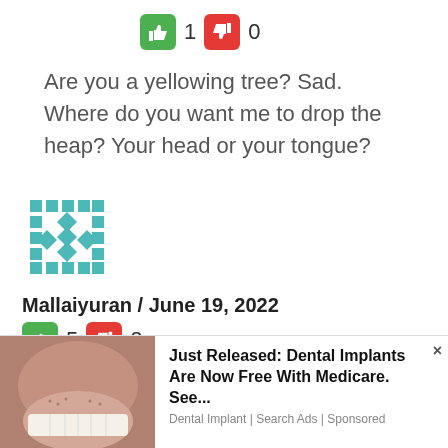[Figure (other): Thumbs up green button with count 1, thumbs down red button with count 0]
Are you a yellowing tree? Sad. Where do you want me to drop the heap? Your head or your tongue?
[Figure (other): Teal geometric avatar icon with diamond/cross pattern]
Mallaiyuran / June 19, 2022
[Figure (other): Thumbs up green button with count 5, thumbs down red button with count 2]
Lankawe, for 75 years, is a country where al
[Figure (other): Advertisement: Just Released: Dental Implants Are Now Free With Medicare. See... — Dental Implant | Search Ads | Sponsored]